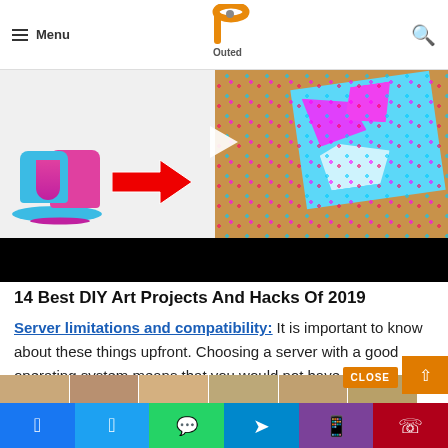Menu | Outed logo | Search
[Figure (screenshot): Hero video thumbnail showing colorful paint pouring on left and abstract art canvas on right with play button and red arrow overlay, black bar at bottom]
14 Best DIY Art Projects And Hacks Of 2019
Server limitations and compatibility: It is important to know about these things upfront. Choosing a server with a good operating system means that you would not have to think about maintenance and re...
[Figure (screenshot): Thumbnail strip of face images at bottom of article]
Facebook | Twitter | WhatsApp | Telegram | Purple | Phone social share buttons